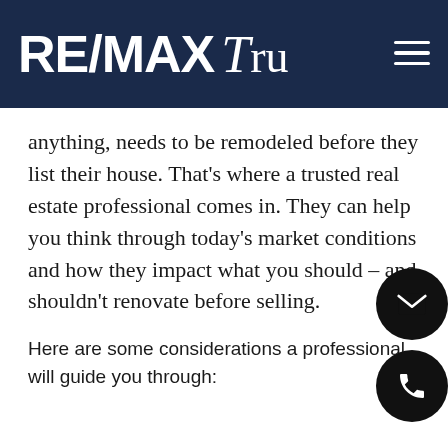RE/MAX Tru
anything, needs to be remodeled before they list their house. That's where a trusted real estate professional comes in. They can help you think through today's market conditions and how they impact what you should – and shouldn't renovate before selling.
Here are some considerations a professional will guide you through: